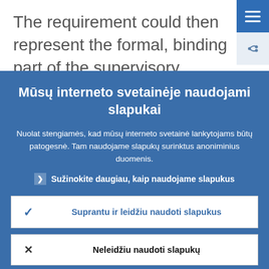The requirement could then represent the formal, binding part of the supervisory expectations for capital. The supervisor
Mūsų interneto svetainėje naudojami slapukai
Nuolat stengiamės, kad mūsų interneto svetainė lankytojams būtų patogesnė. Tam naudojame slapukų surinktus anoniminius duomenis.
Sužinokite daugiau, kaip naudojame slapukus
Suprantu ir leidžiu naudoti slapukus
Neleidžiu naudoti slapukų